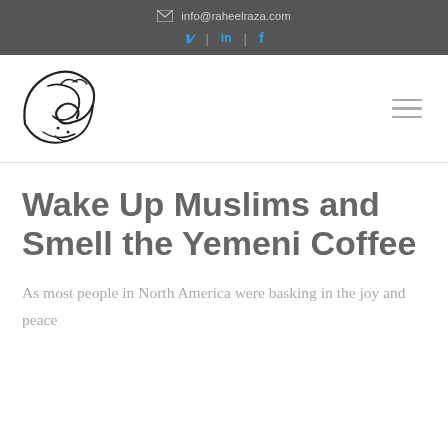info@raheelraza.com
[Figure (logo): Raheel Raza Arabic calligraphy logo in black]
Wake Up Muslims and Smell the Yemeni Coffee
As most people in North America were basking in the joy and peace